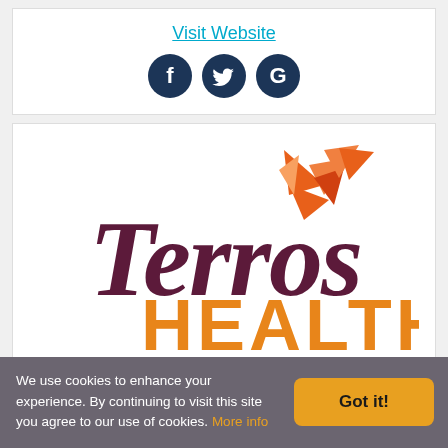Visit Website
[Figure (illustration): Three dark navy social media icon circles: Facebook (f), Twitter (bird), Google (G)]
[Figure (logo): Terros Health logo: 'Terros' in dark maroon cursive script with an orange origami bird above the 's', and 'HEALTH' in bold orange capital letters below]
We use cookies to enhance your experience. By continuing to visit this site you agree to our use of cookies. More info